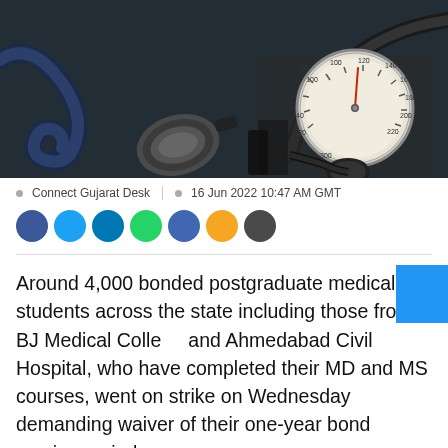[Figure (photo): Close-up photo of a stethoscope and a blood pressure gauge (sphygmomanometer) on a dark surface.]
Connect Gujarat Desk   16 Jun 2022 10:47 AM GMT
[Figure (infographic): Row of social media share buttons as colored circles: dark blue (Facebook), light blue (Twitter), medium blue, green (WhatsApp), blue, yellow (share/bookmark), dark gray (more).]
Around 4,000 bonded postgraduate medical students across the state including those from BJ Medical College and Ahmedabad Civil Hospital, who have completed their MD and MS courses, went on strike on Wednesday demanding waiver of their one-year bond service period.